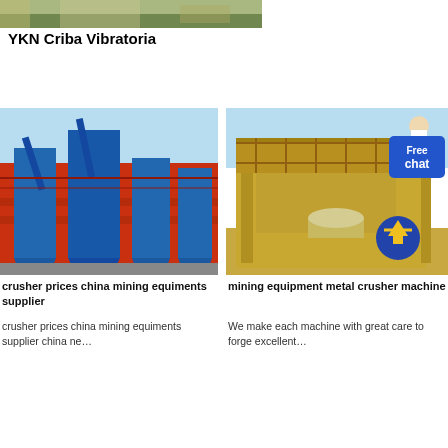[Figure (photo): Landscape/nature photograph shown partially at top of page]
YKN Criba Vibratoria
[Figure (photo): Industrial photo of blue silos/dust collectors in front of a red factory building]
crusher prices china mining equiments supplier
crusher prices china mining equiments supplier china ne…
[Figure (photo): Photo of yellow heavy mining/crusher machine equipment with a chat bubble overlay showing 'Free chat' and an upward arrow icon]
mining equipment metal crusher machine
We make each machine with great care to forge excellent…